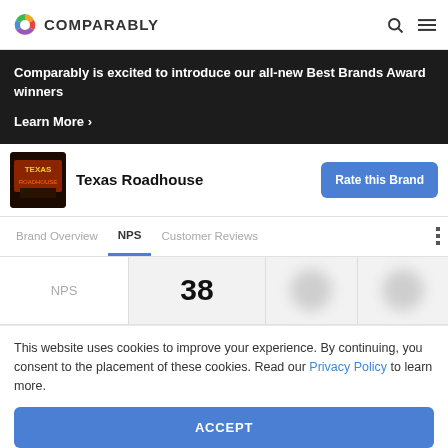COMPARABLY
Comparably is excited to introduce our all-new Best Brands Award winners
Learn More >
Texas Roadhouse
Rate this Brand
Brand Overview  NPS  Customer Reviews
| NPS | 38 |  |  |
| --- | --- | --- | --- |
This website uses cookies to improve your experience. By continuing, you consent to the placement of these cookies. Read our Privacy Policy to learn more.
ACCEPT